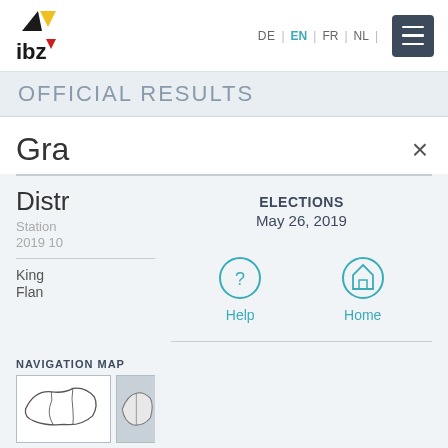IBZ — OFFICIAL RESULTS — DE | EN | FR | NL
OFFICIAL RESULTS
Gra
ELECTIONS
May 26, 2019
Help
Home
Distr
Station
2019 10
King
Flan
NAVIGATION MAP
Di
Munici